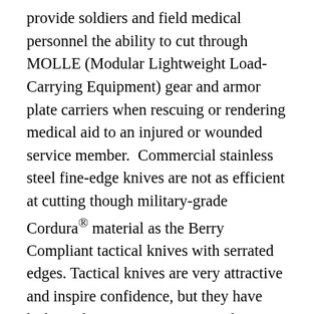provide soldiers and field medical personnel the ability to cut through MOLLE (Modular Lightweight Load-Carrying Equipment) gear and armor plate carriers when rescuing or rendering medical aid to an injured or wounded service member.  Commercial stainless steel fine-edge knives are not as efficient at cutting though military-grade Cordura® material as the Berry Compliant tactical knives with serrated edges. Tactical knives are very attractive and inspire confidence, but they have little application in a non-tactical environment. Additionally, most of these tactical knives have the serrated edge near the hilt of the knife which is the most important cutting surface of the blade for notching other